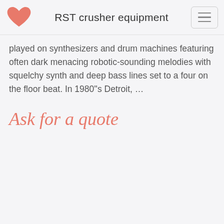RST crusher equipment
played on synthesizers and drum machines featuring often dark menacing robotic-sounding melodies with squelchy synth and deep bass lines set to a four on the floor beat. In 1980''s Detroit, …
Ask for a quote